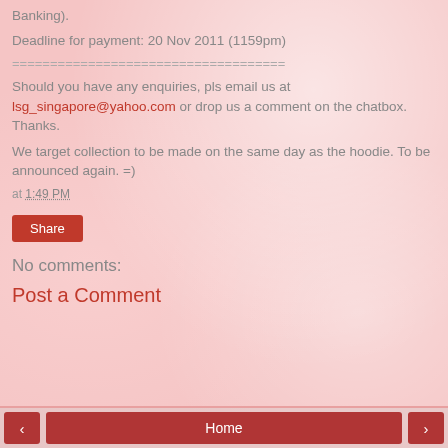Banking).
Deadline for payment: 20 Nov 2011 (1159pm)
====================================
Should you have any enquiries, pls email us at lsg_singapore@yahoo.com or drop us a comment on the chatbox. Thanks.
We target collection to be made on the same day as the hoodie. To be announced again. =)
at 1:49 PM
Share
No comments:
Post a Comment
< Home >